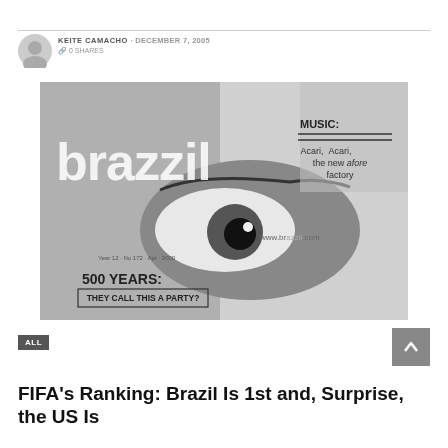KEITE CAMACHO · DECEMBER 7, 2005
🔗 0 SHARES
[Figure (photo): Black and white magazine cover of 'brazzil' magazine showing a close-up of a person's eye. Text on cover reads: MUSIC: Acari, the new afore factory. 500 YEARS: THEY CALL THIS A PARTY? Year 12 · No 172 · Apr · 2000]
ALL
FIFA's Ranking: Brazil Is 1st and, Surprise, the US Is